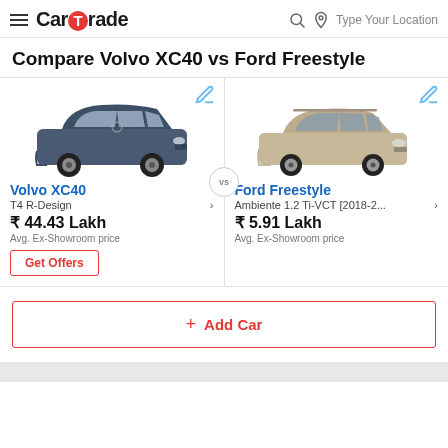CarTrade — Type Your Location
Compare Volvo XC40 vs Ford Freestyle
[Figure (photo): Volvo XC40 SUV in dark blue/grey color, front three-quarter view]
[Figure (photo): Ford Freestyle hatchback in beige/champagne color, front three-quarter view]
Volvo XC40
T4 R-Design
₹ 44.43 Lakh
Avg. Ex-Showroom price
Ford Freestyle
Ambiente 1.2 Ti-VCT [2018-2...
₹ 5.91 Lakh
Avg. Ex-Showroom price
+ Add Car